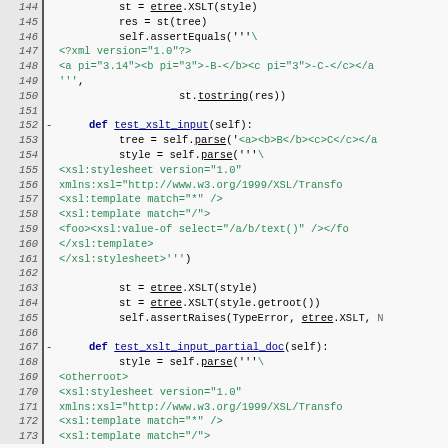Code listing lines 144-173 showing Python XSLT test code using lxml/etree